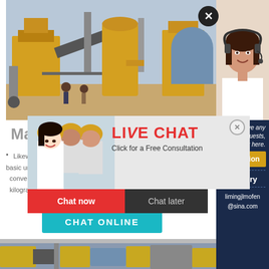[Figure (photo): Industrial mining/quarrying machinery with yellow equipment, conveyors, and workers in a large outdoor facility]
Mass
Likewise, basic units must remain the same - mass converted converted to length, et al. You won't usually find a c kilograms to grams - the prefix 'kilo' means '1,000' so
[Figure (screenshot): Live chat popup with construction workers in yellow hard hats, showing LIVE CHAT heading in red, 'Click for a Free Consultation' text, red Chat now button and dark Chat later button]
[Figure (photo): Customer service agent - woman with headset smiling, in right sidebar]
ave any requests, click here.
Quotation
Enquiry
limingjlmofen@sina.com
[Figure (photo): Bottom strip showing industrial machinery/equipment photo]